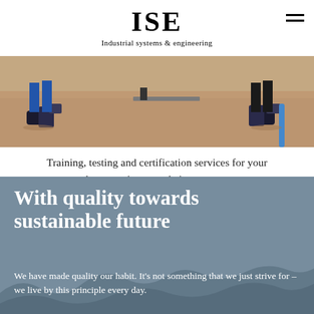ISE
Industrial systems & engineering
[Figure (photo): Partial view of workers' feet and lower legs on an industrial floor, with tools visible]
Training, testing and certification services for your employees to increase their competences.
With quality towards sustainable future
We have made quality our habit. It's not something that we just strive for – we live by this principle every day.